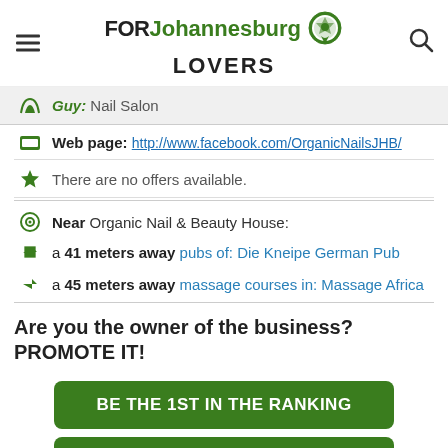FOR Johannesburg LOVERS
Guy: Nail Salon
Web page: http://www.facebook.com/OrganicNailsJHB/
There are no offers available.
Near Organic Nail & Beauty House:
a 41 meters away pubs of: Die Kneipe German Pub
a 45 meters away massage courses in: Massage Africa
Are you the owner of the business? PROMOTE IT!
BE THE 1ST IN THE RANKING
EXCLUSIVE PAGE